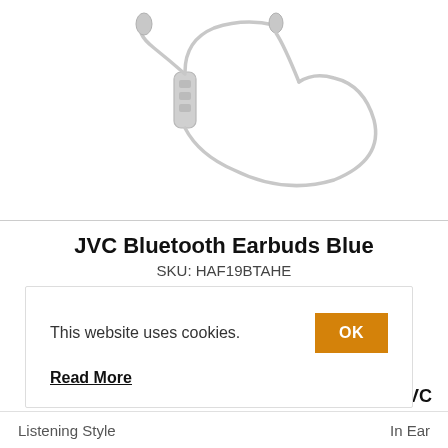[Figure (photo): JVC Bluetooth earbuds in light gray/white color, showing the in-line remote/controller module and the looped neckband cable against a white background.]
JVC Bluetooth Earbuds Blue
SKU: HAF19BTAHE
IN STOCK
This website uses cookies.
OK
Read More
JVC
Listening Style
In Ear